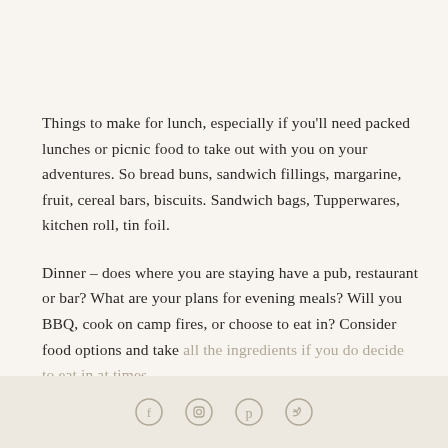Things to make for lunch, especially if you'll need packed lunches or picnic food to take out with you on your adventures. So bread buns, sandwich fillings, margarine, fruit, cereal bars, biscuits. Sandwich bags, Tupperwares, kitchen roll, tin foil.
Dinner – does where you are staying have a pub, restaurant or bar? What are your plans for evening meals? Will you BBQ, cook on camp fires, or choose to eat in? Consider food options and take all the ingredients if you do decide to eat in at times.
Social media icons: Facebook, Instagram, Pinterest, Twitter